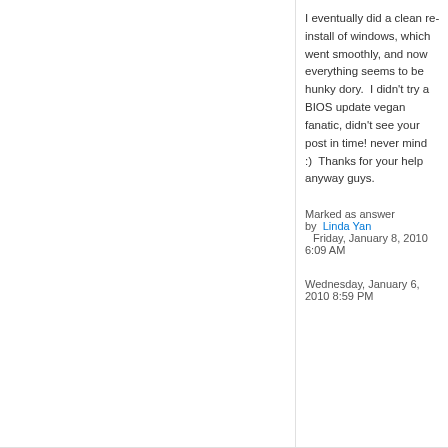I eventually did a clean re-install of windows, which went smoothly, and now everything seems to be hunky dory.  I didn't try a BIOS update vegan fanatic, didn't see your post in time! never mind :)  Thanks for your help anyway guys.
Marked as answer by  Linda Yan  Friday, January 8, 2010 6:09 AM
Wednesday, January 6, 2010 8:59 PM